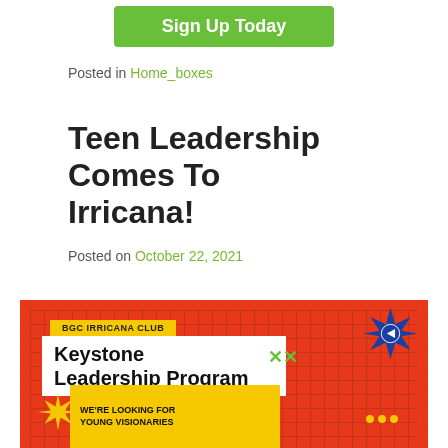[Figure (other): Green 'Sign Up Today' button]
Posted in Home_boxes
Teen Leadership Comes To Irricana!
Posted on October 22, 2021
[Figure (illustration): BGC Irricana Club Keystone Leadership Program promotional graphic on red background with grid pattern, yellow banner, white text box, blue starburst, yellow starburst, and bottom yellow box reading WE'RE LOOKING FOR YOUNG VISIONARIES]